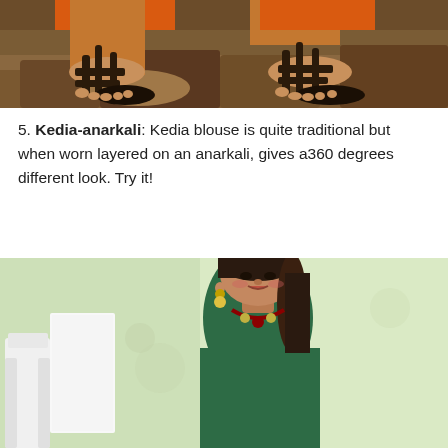[Figure (photo): Close-up of a person's feet wearing dark strappy sandals on rocky ground, with orange-colored fabric visible at the top]
5. Kedia-anarkali: Kedia blouse is quite traditional but when worn layered on an anarkali, gives a360 degrees different look. Try it!
[Figure (photo): A woman with long dark hair wearing a green anarkali outfit with jewelry, posed against a light green background]